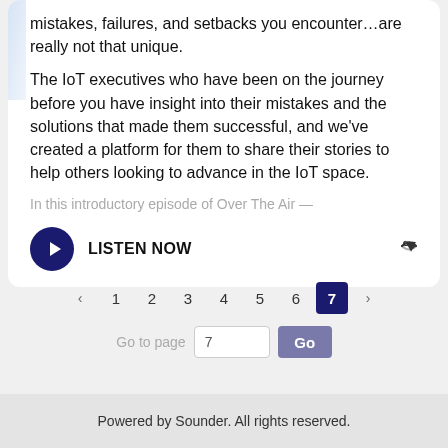mistakes, failures, and setbacks you encounter…are really not that unique.
The IoT executives who have been on the journey before you have insight into their mistakes and the solutions that made them successful, and we've created a platform for them to share their stories to help others looking to advance in the IoT space.
In this introductory episode of Over The Air —
LISTEN NOW
Powered by Sounder. All rights reserved.